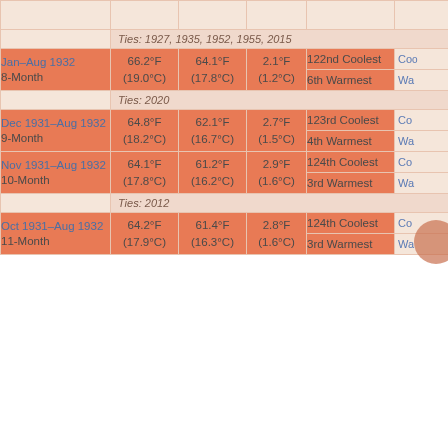| Period | Actual Temp | Average Temp | Departure | Rank (Cool) | Rank (Warm) |
| --- | --- | --- | --- | --- | --- |
| Jan–Aug 1932 8-Month | 66.2°F (19.0°C) | 64.1°F (17.8°C) | 2.1°F (1.2°C) | 122nd Coolest | Co... |
|  |  |  |  | 6th Warmest | Wa... |
| Ties: 2020 |  |  |  |  |  |
| Dec 1931–Aug 1932 9-Month | 64.8°F (18.2°C) | 62.1°F (16.7°C) | 2.7°F (1.5°C) | 123rd Coolest | Co... |
|  |  |  |  | 4th Warmest | Wa... |
| Oct 1931–Aug 1932 11-Month | 64.2°F (17.9°C) | 61.4°F (16.3°C) | 2.8°F (1.6°C) | 124th Coolest | Co... |
|  |  |  |  | 3rd Warmest | Wa... |
| Nov 1931–Aug 1932 10-Month | 64.1°F (17.8°C) | 61.2°F (16.2°C) | 2.9°F (1.6°C) | 124th Coolest | Co... |
|  |  |  |  | 3rd Warmest | Wa... |
| Ties: 2012 |  |  |  |  |  |